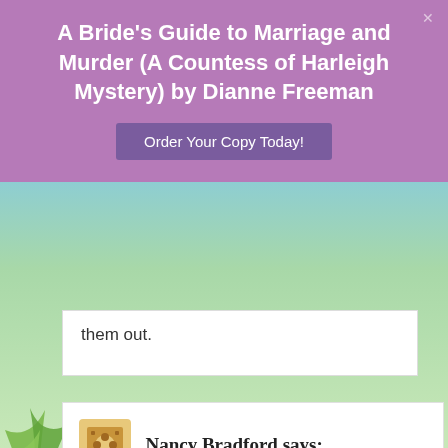A Bride's Guide to Marriage and Murder (A Countess of Harleigh Mystery) by Dianne Freeman
Order Your Copy Today!
them out.
Nancy Bradford says: February 8, 2012 at 8:11 AM
Privacy & Cookies: This site uses cookies. By continuing to use this website, you agree to their use. To find out more, including how to control cookies, see here: Cookie Policy
Close and accept